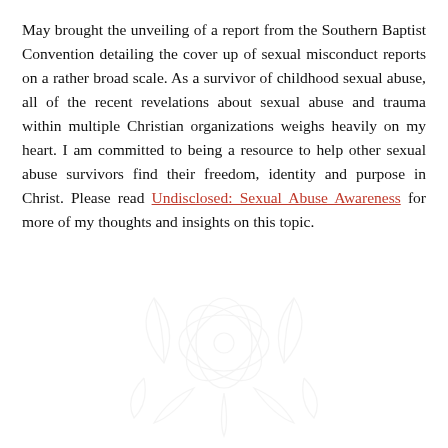May brought the unveiling of a report from the Southern Baptist Convention detailing the cover up of sexual misconduct reports on a rather broad scale. As a survivor of childhood sexual abuse, all of the recent revelations about sexual abuse and trauma within multiple Christian organizations weighs heavily on my heart. I am committed to being a resource to help other sexual abuse survivors find their freedom, identity and purpose in Christ. Please read Undisclosed: Sexual Abuse Awareness for more of my thoughts and insights on this topic.
[Figure (illustration): Faint watermark-style decorative floral or leaf illustration in light gray, centered in the lower half of the page.]